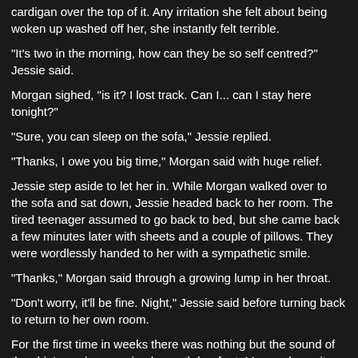cardigan over the top of it. Any irritation she felt about being woken up washed off her, she instantly felt terrible.
"It's two in the morning, how can they be so self centred?" Jessie said.
Morgan sighed, "is it? I lost track. Can I... can I stay here tonight?"
"Sure, you can sleep on the sofa," Jessie replied.
"Thanks, I owe you big time," Morgan said with huge relief.
Jessie step aside to let her in. While Morgan walked over to the sofa and sat down, Jessie headed back to her room. The tired teenager assumed to go back to bed, but she came back a few minutes later with sheets and a couple of pillows. They were wordlessly handed to her with a sympathetic smile.
"Thanks," Morgan said through a growing lump in her throat.
"Don't worry, it'll be fine. Night," Jessie said before turning back to return to her own room.
For the first time in weeks there was nothing but the sound of the ship's engines purring beneath her feet. Morgan knew it wouldn't be for very long, so she wrapped the soft sheets around her and curled up on the sofa. Despite the many thoughts about her parents buzzing in her head, she drifted off quickly.